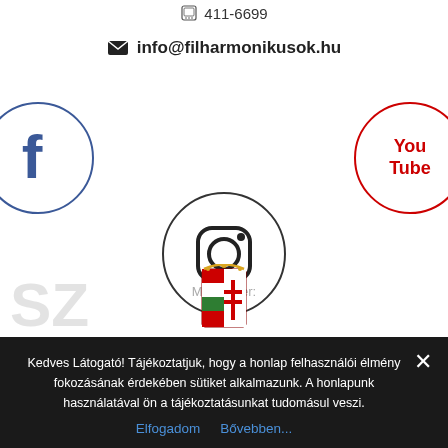411-6699
info@filharmonikusok.hu
[Figure (logo): Facebook logo circle with dark blue 'f' icon on white background with blue outline circle]
[Figure (logo): YouTube logo circle with red 'You Tube' text on white background with red outline circle]
[Figure (logo): Instagram camera icon in black outline circle]
Maintainer:
[Figure (logo): Kulturális és Innovációs Minisztérium Hungarian coat of arms logo with text]
Kedves Látogató! Tájékoztatjuk, hogy a honlap felhasználói élmény fokozásának érdekében sütiket alkalmazunk. A honlapunk használatával ön a tájékoztatásunkat tudomásul veszi.
Elfogadom   Bővebben...